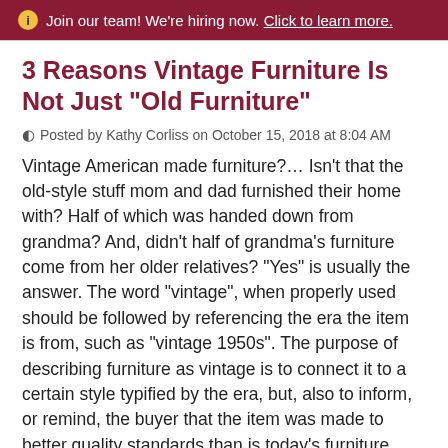Join our team! We're hiring now. Click to learn more.
3 Reasons Vintage Furniture Is Not Just "Old Furniture"
Posted by Kathy Corliss on October 15, 2018 at 8:04 AM
Vintage American made furniture?… Isn't that the old-style stuff mom and dad furnished their home with? Half of which was handed down from grandma? And, didn't half of grandma's furniture come from her older relatives? "Yes" is usually the answer. The word "vintage", when properly used should be followed by referencing the era the item is from, such as "vintage 1950s". The purpose of describing furniture as vintage is to connect it to a certain style typified by the era, but, also to inform, or remind, the buyer that the item was made to better quality standards than is today's furniture.